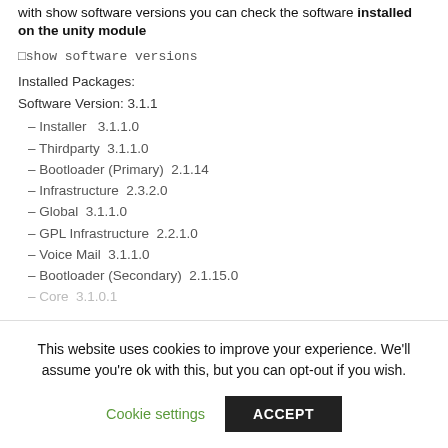with show software versions you can check the software installed on the unity module
□show software versions
Installed Packages:
Software Version: 3.1.1
– Installer  3.1.1.0
– Thirdparty  3.1.1.0
– Bootloader (Primary)  2.1.14
– Infrastructure  2.3.2.0
– Global  3.1.1.0
– GPL Infrastructure  2.2.1.0
– Voice Mail  3.1.1.0
– Bootloader (Secondary)  2.1.15.0
– Core  3.1.0.1
This website uses cookies to improve your experience. We'll assume you're ok with this, but you can opt-out if you wish.
Cookie settings  ACCEPT